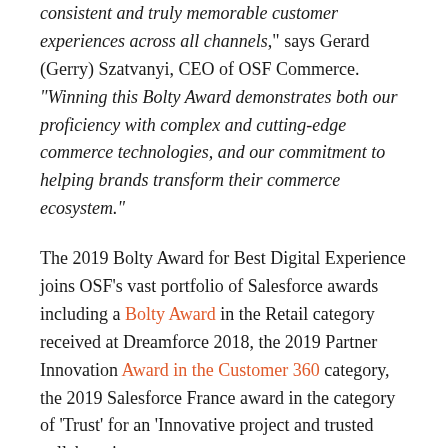consistent and truly memorable customer experiences across all channels," says Gerard (Gerry) Szatvanyi, CEO of OSF Commerce. "Winning this Bolty Award demonstrates both our proficiency with complex and cutting-edge commerce technologies, and our commitment to helping brands transform their commerce ecosystem."
The 2019 Bolty Award for Best Digital Experience joins OSF's vast portfolio of Salesforce awards including a Bolty Award in the Retail category received at Dreamforce 2018, the 2019 Partner Innovation Award in the Customer 360 category, the 2019 Salesforce France award in the category of 'Trust' for an 'Innovative project and trusted collaboration